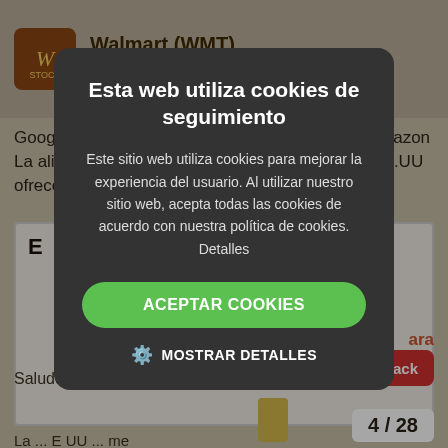Walmart (WMT) | Empresas | Estados Unidos
Google se alía con Walmart para competir con Amazon La alianza con el mayor vendador minorista de EE.UU ofrece...
E ...ara
La ... E UU ... me
Saludos.
[Figure (screenshot): Cookie consent modal overlay with dark background. Title: 'Esta web utiliza cookies de seguimiento'. Body text: 'Este sitio web utiliza cookies para mejorar la experiencia del usuario. Al utilizar nuestro sitio web, acepta todas las cookies de acuerdo con nuestra política de cookies. Detalles'. Green button: 'ACEPTAR COOKIES'. Secondary option: gear icon + 'MOSTRAR DETALLES'.]
4 / 28